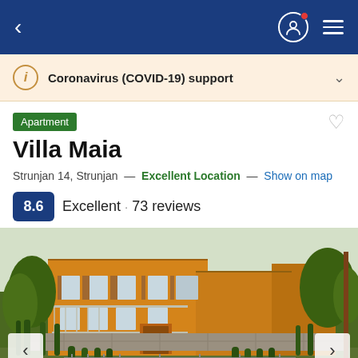< [back] [user icon] [menu]
Coronavirus (COVID-19) support
Apartment
Villa Maia
Strunjan 14, Strunjan — Excellent Location — Show on map
8.6 Excellent · 73 reviews
[Figure (photo): Exterior photo of Villa Maia, a two-story yellow/orange apartment building with shuttered windows, balconies, surrounded by trees and hedges, stone retaining wall, sign reading Villa Maia on entrance]